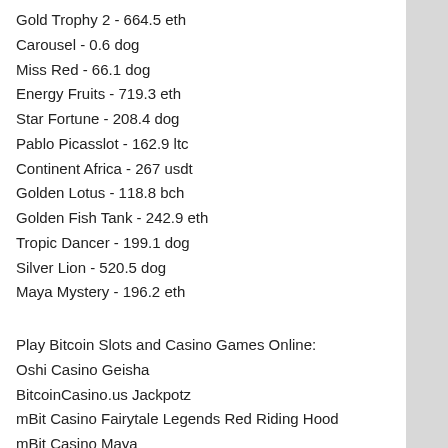Gold Trophy 2 - 664.5 eth
Carousel - 0.6 dog
Miss Red - 66.1 dog
Energy Fruits - 719.3 eth
Star Fortune - 208.4 dog
Pablo Picasslot - 162.9 ltc
Continent Africa - 267 usdt
Golden Lotus - 118.8 bch
Golden Fish Tank - 242.9 eth
Tropic Dancer - 199.1 dog
Silver Lion - 520.5 dog
Maya Mystery - 196.2 eth
Play Bitcoin Slots and Casino Games Online:
Oshi Casino Geisha
BitcoinCasino.us Jackpotz
mBit Casino Fairytale Legends Red Riding Hood
mBit Casino Maya